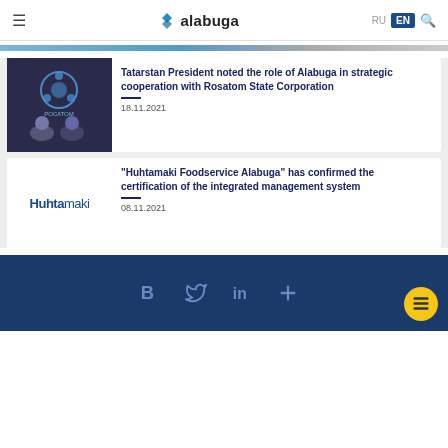alabuga — RU / EN language selector and search
[Figure (photo): Top strip image, partial view of photo]
[Figure (photo): Two men seated at a conference table with Rosatom (РОСАТОМ) logo in background]
Tatarstan President noted the role of Alabuga in strategic cooperation with Rosatom State Corporation
18.11.2021
[Figure (logo): Huhtamaki logo]
"Huhtamaki Foodservice Alabuga" has confirmed the certification of the integrated management system
08.11.2021
Social media icons: VK, Twitter, LinkedIn, plus icon. Yellow FAB button.